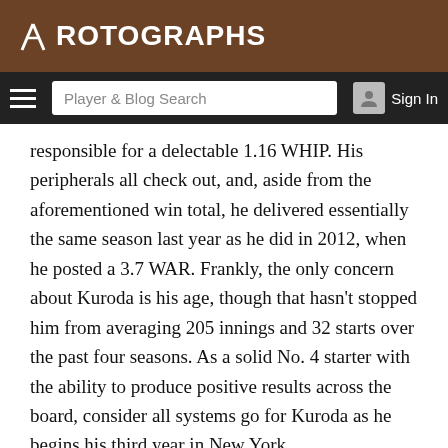ROTOGRAPHS
Player & Blog Search  Sign In
responsible for a delectable 1.16 WHIP. His peripherals all check out, and, aside from the aforementioned win total, he delivered essentially the same season last year as he did in 2012, when he posted a 3.7 WAR. Frankly, the only concern about Kuroda is his age, though that hasn't stopped him from averaging 205 innings and 32 starts over the past four seasons. As a solid No. 4 starter with the ability to produce positive results across the board, consider all systems go for Kuroda as he begins his third year in New York.
How will Masahiro Tanaka, coming off an astounding 24-0